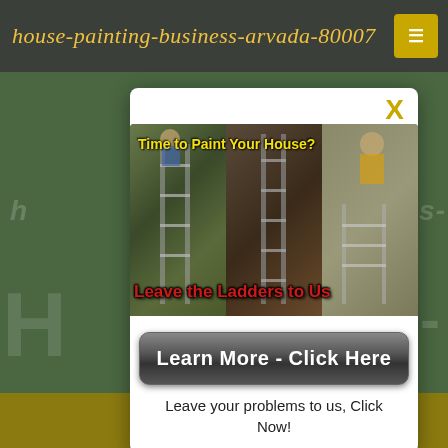house-painting-business-arvada-80007
[Figure (infographic): A modal popup ad overlaid on a green background webpage. The modal contains a collage of three photos showing ladders and house painters, with text overlays 'Time to Paint Your House?' in yellow and 'Leave the Ladders to Us' in red. Below the images is a dark gray button labeled 'Learn More - Click Here' and subtext 'Leave your problems to us, Click Now!'. An X close button appears in gold at the top right of the modal.]
Time to Paint Your House?
Leave the Ladders to Us
Learn More - Click Here
Leave your problems to us, Click Now!